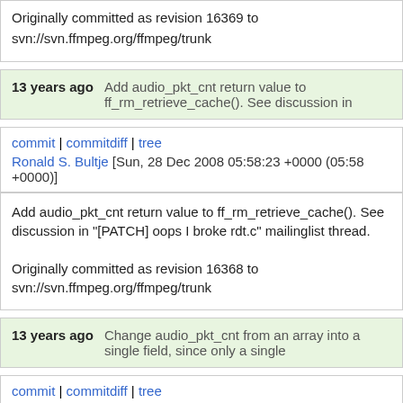Originally committed as revision 16369 to svn://svn.ffmpeg.org/ffmpeg/trunk
13 years ago    Add audio_pkt_cnt return value to ff_rm_retrieve_cache(). See discussion in
commit | commitdiff | tree
Ronald S. Bultje [Sun, 28 Dec 2008 05:58:23 +0000 (05:58 +0000)]
Add audio_pkt_cnt return value to ff_rm_retrieve_cache(). See discussion in "[PATCH] oops I broke rdt.c" mailinglist thread.

Originally committed as revision 16368 to svn://svn.ffmpeg.org/ffmpeg/trunk
13 years ago    Change audio_pkt_cnt from an array into a single field, since only a single
commit | commitdiff | tree
Ronald S. Bultje [Sun, 28 Dec 2008 05:55:09 +0000 (05:55 +0000)]
Change audio_pkt_cnt from an array into a single field, since only a single member of the array is ever used (compare to RMDemuxContext-